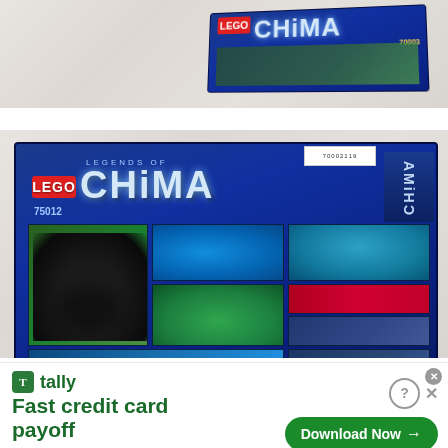[Figure (photo): Partial view of a LEGO Chima box top edge on a white cloth background]
[Figure (photo): Back of LEGO Legends of Chima set 75012 box showing product images of the Raven glider vehicle and minifigures on a blue background, placed on white cloth]
[Figure (screenshot): Advertisement banner for Tally app - Fast credit card payoff, with green Download Now button and help/close icons]